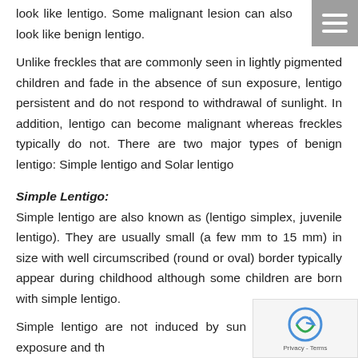look like lentigo. Some malignant lesion can also look like benign lentigo.
Unlike freckles that are commonly seen in lightly pigmented children and fade in the absence of sun exposure, lentigo persistent and do not respond to withdrawal of sunlight. In addition, lentigo can become malignant whereas freckles typically do not. There are two major types of benign lentigo: Simple lentigo and Solar lentigo
Simple Lentigo:
Simple lentigo are also known as (lentigo simplex, juvenile lentigo). They are usually small (a few mm to 15 mm) in size with well circumscribed (round or oval) border typically appear during childhood although some children are born with simple lentigo.
Simple lentigo are not induced by sun exposure and they have a scattered distribution and often do not show a